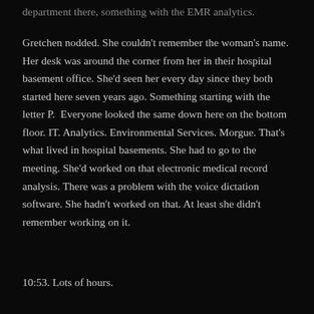department there, something with the EMR analytics.
Gretchen nodded. She couldn't remember the woman's name. Her desk was around the corner from her in their hospital basement office. She'd seen her every day since they both started here seven years ago. Something starting with the letter P.  Everyone looked the same down here on the bottom floor. IT. Analytics. Environmental Services. Morgue. That's what lived in hospital basements. She had to go to the meeting. She'd worked on that electronic medical record analysis. There was a problem with the voice dictation software. She hadn't worked on that. At least she didn't remember working on it.
10:53. Lots of hours.